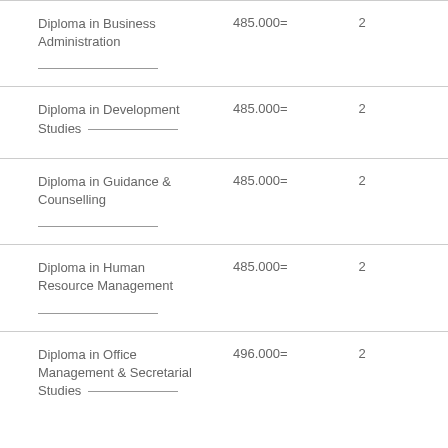| Programme | Amount | Years |
| --- | --- | --- |
| Diploma in Business Administration | 485.000= | 2 |
| Diploma in Development Studies | 485.000= | 2 |
| Diploma in Guidance & Counselling | 485.000= | 2 |
| Diploma in Human Resource Management | 485.000= | 2 |
| Diploma in Office Management & Secretarial Studies | 496.000= | 2 |